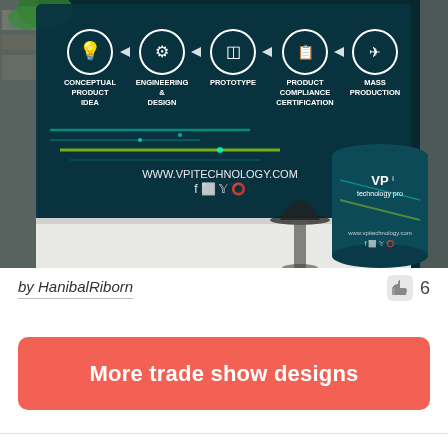[Figure (photo): Trade show booth display with teal/dark blue tech-themed backdrop showing product development process steps: Conceptual Product Idea, Engineering & Design, Prototype, Product Compliance Certification, Mass Production — connected by arrows with icons. VPI Technology branding visible. A cylindrical counter display and bar stool shown. URL www.vpitechnology.com and social media icons visible.]
by HanibalRiborn
6
More trade show designs